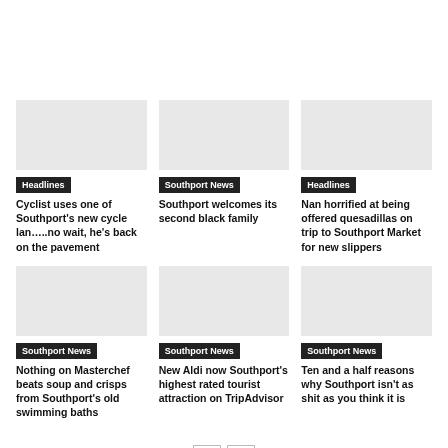[Figure (photo): Empty image placeholder top-left]
[Figure (photo): Empty image placeholder top-center]
[Figure (photo): Empty image placeholder top-right]
Headlines
Cyclist uses one of Southport’s new cycle lan……no wait, he’s back on the pavement
Southport News
Southport welcomes its second black family
Headlines
Nan horrified at being offered quesadillas on trip to Southport Market for new slippers
[Figure (photo): Empty image placeholder bottom-left]
[Figure (photo): Empty image placeholder bottom-center]
[Figure (photo): Empty image placeholder bottom-right]
Southport News
Nothing on Masterchef beats soup and crisps from Southport’s old swimming baths
Southport News
New Aldi now Southport’s highest rated tourist attraction on TripAdvisor
Southport News
Ten and a half reasons why Southport isn’t as shit as you think it is